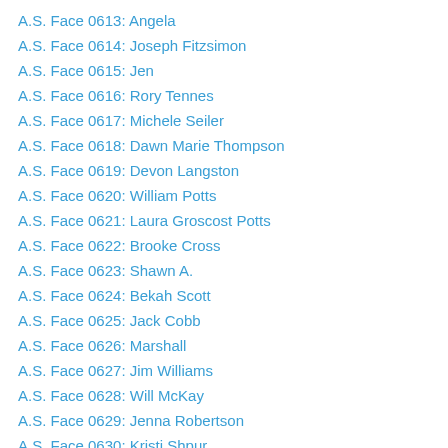A.S. Face 0613: Angela
A.S. Face 0614: Joseph Fitzsimon
A.S. Face 0615: Jen
A.S. Face 0616: Rory Tennes
A.S. Face 0617: Michele Seiler
A.S. Face 0618: Dawn Marie Thompson
A.S. Face 0619: Devon Langston
A.S. Face 0620: William Potts
A.S. Face 0621: Laura Groscost Potts
A.S. Face 0622: Brooke Cross
A.S. Face 0623: Shawn A.
A.S. Face 0624: Bekah Scott
A.S. Face 0625: Jack Cobb
A.S. Face 0626: Marshall
A.S. Face 0627: Jim Williams
A.S. Face 0628: Will McKay
A.S. Face 0629: Jenna Robertson
A.S. Face 0630: Kristi Shpur
A.S. Face 0631: Lianne Borden
A.S. Face 0632: Karen Clickner